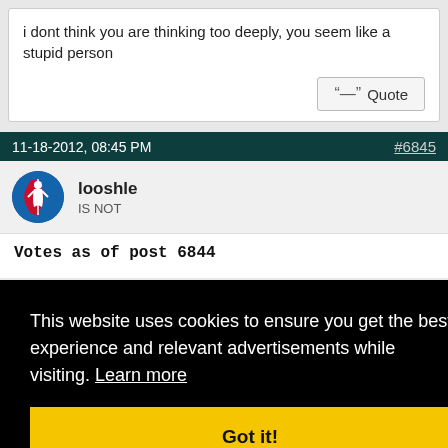i dont think you are thinking too deeply, you seem like a stupid person
Quote
11-18-2012, 08:45 PM
#6845
looshle
IS NOT
Votes as of post 6844
This website uses cookies to ensure you get the best experience and relevant advertisements while visiting. Learn more
Got it!